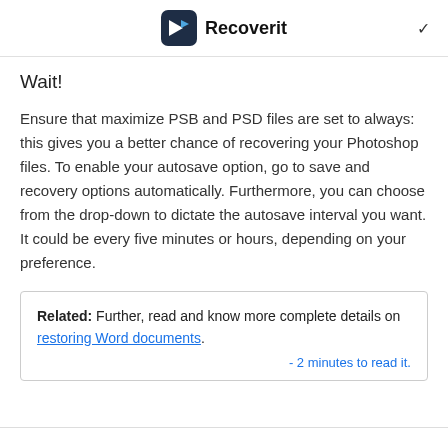Recoverit
Wait!
Ensure that maximize PSB and PSD files are set to always: this gives you a better chance of recovering your Photoshop files. To enable your autosave option, go to save and recovery options automatically. Furthermore, you can choose from the drop-down to dictate the autosave interval you want. It could be every five minutes or hours, depending on your preference.
Related: Further, read and know more complete details on restoring Word documents. - 2 minutes to read it.